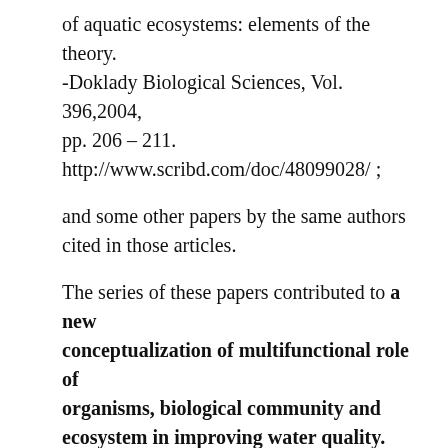of aquatic ecosystems: elements of the theory. -Doklady Biological Sciences, Vol. 396,2004, pp. 206 – 211. http://www.scribd.com/doc/48099028/ ;
and some other papers by the same authors cited in those articles.
The series of these papers contributed to a new conceptualization of multifunctional role of organisms, biological community and ecosystem in improving water quality.
**
key words: